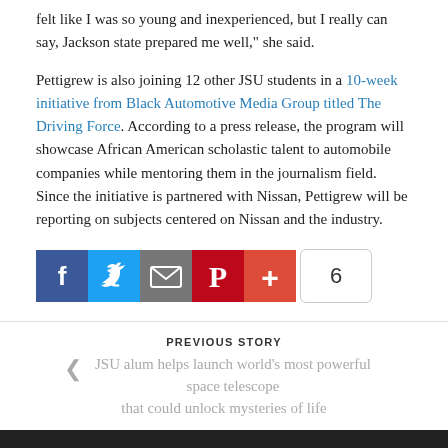felt like I was so young and inexperienced, but I really can say, Jackson state prepared me well,” she said.
Pettigrew is also joining 12 other JSU students in a 10-week initiative from Black Automotive Media Group titled The Driving Force. According to a press release, the program will showcase African American scholastic talent to automobile companies while mentoring them in the journalism field. Since the initiative is partnered with Nissan, Pettigrew will be reporting on subjects centered on Nissan and the industry.
[Figure (infographic): Social share buttons: Facebook (blue), Twitter (light blue), Email (gray), Pinterest (red), Plus/More (orange-red), and a share count showing 6]
PREVIOUS STORY
JSU alum helps launch world’s most powerful space telescope that could unlock mysteries of life
NEXT STORY
JSU alumna named virtual guest for State of the Union address